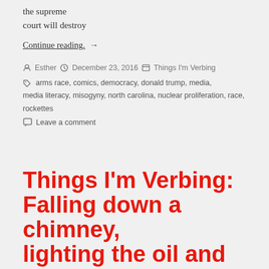the supreme court will destroy
Continue reading. →
Esther   December 23, 2016   Things I'm Verbing
arms race, comics, democracy, donald trump, media, media literacy, misogyny, north carolina, nuclear proliferation, race, rockettes
Leave a comment
Things I'm Verbing: Falling down a chimney, lighting the oil and